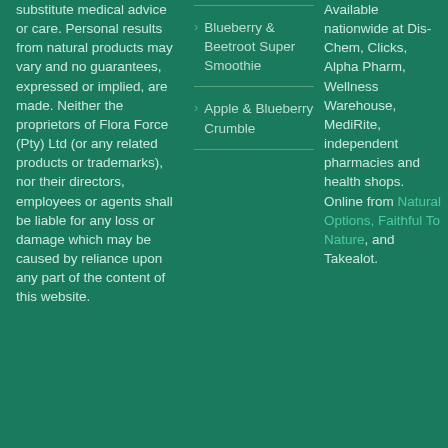substitute medical advice or care. Personal results from natural products may vary and no guarantees, expressed or implied, are made. Neither the proprietors of Flora Force (Pty) Ltd (or any related products or trademarks), nor their directors, employees or agents shall be liable for any loss or damage which may be caused by reliance upon any part of the content of this website.
Blueberry & Beetroot Super Smoothie
Apple & Blueberry Crumble
Available nationwide at Dis-Chem, Clicks, Alpha Pharm, Wellness Warehouse, MediRite, independent pharmacies and health shops. Online from Natural Options, Faithful To Nature, and Takealot.